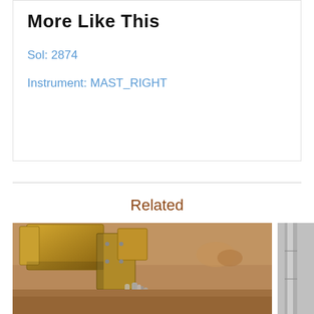More Like This
Sol: 2874
Instrument: MAST_RIGHT
Related
[Figure (photo): Close-up photograph of the Mars Curiosity rover robotic arm/drill mechanism with metallic components against a blurred reddish-brown Martian surface background. Wire bundle visible at lower right.]
[Figure (photo): Partial photo of rover component, appears to show metallic or silvery element, partially cropped at right edge.]